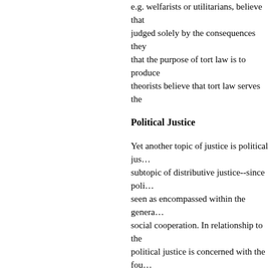e.g. welfarists or utilitarians, believe that actions are judged solely by the consequences they produce, argue that the purpose of tort law is to produce … theorists believe that tort law serves the …
Political Justice
Yet another topic of justice is political justice, a subtopic of distributive justice--since political justice is seen as encompassed within the general framework of social cooperation. In relationship to the state, political justice is concerned with the foundations. Who shall have the right to vote? What powers do communities as opposed to nation-states … power of democratic majorities (e.g. indi…
The topic of political justice shades into a … legitimacy." Are these two ideas essentially … view is that it is possible to have a legitim… unjust (or vice versa). For example, som… legitimacy has to do with the origination … been accepted and endorsed by the peo… even if the substance of the system (e.g.… On this view, a religious state might be le… is that political legitimacy depends on p…